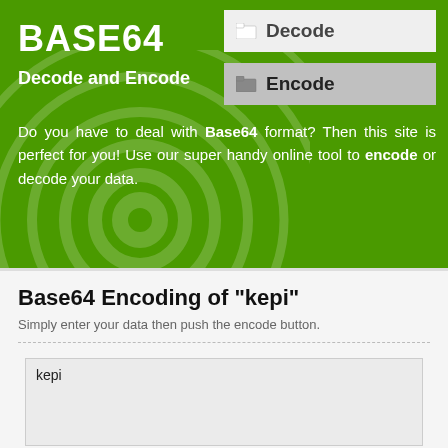BASE64
Decode and Encode
[Figure (other): Decode button with folder icon]
[Figure (other): Encode button with folder icon]
Do you have to deal with Base64 format? Then this site is perfect for you! Use our super handy online tool to encode or decode your data.
Base64 Encoding of "kepi"
Simply enter your data then push the encode button.
kepi